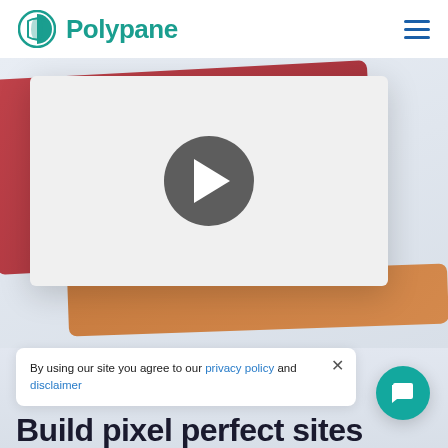Polypane
[Figure (screenshot): Video player area with a white card showing a play button (triangle in dark circle), with red and orange decorative cards in the background, on a light blue-gray gradient background.]
By using our site you agree to our privacy policy and disclaimer
Build pixel perfect sites